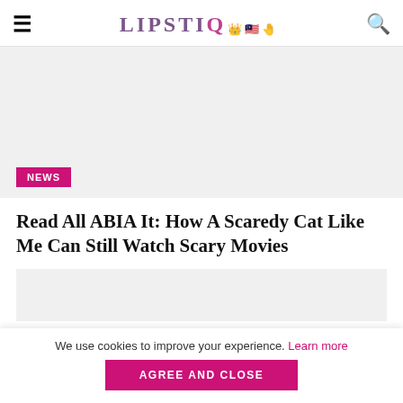LIPSTIQ
[Figure (photo): Large image placeholder with light grey background, article hero image area]
NEWS
Read All ABIA It: How A Scaredy Cat Like Me Can Still Watch Scary Movies
[Figure (photo): Second image placeholder with light grey background]
We use cookies to improve your experience. Learn more
AGREE AND CLOSE